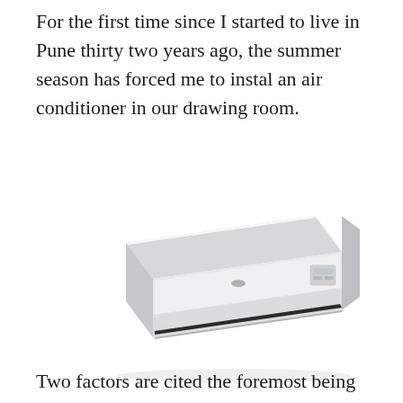For the first time since I started to live in Pune thirty two years ago, the summer season has forced me to instal an air conditioner in our drawing room.
[Figure (photo): A white wall-mounted split air conditioner unit, shown from a slightly elevated angle. The unit is rectangular with rounded edges, light grey/white in color, with a slim front panel and a vent at the bottom.]
Two factors are cited the foremost being global